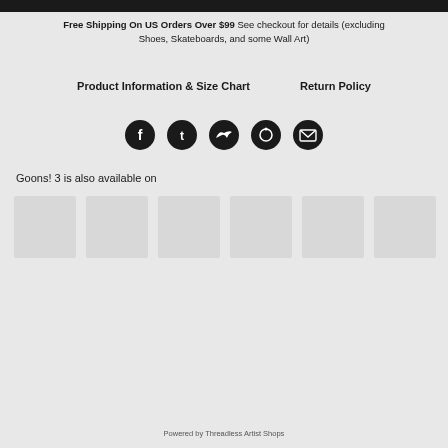Free Shipping On US Orders Over $99 See checkout for details (excluding Shoes, Skateboards, and some Wall Art)
Product Information & Size Chart    Return Policy
[Figure (infographic): Five dark circular social media icons: Facebook, Tumblr, Twitter, Pinterest, Email]
Goons! 3 is also available on
[Figure (photo): Six light gray thumbnail placeholder images in a horizontal row]
Powered by Threadless Artist Shops